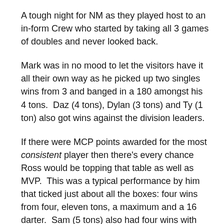A tough night for NM as they played host to an in-form Crew who started by taking all 3 games of doubles and never looked back.
Mark was in no mood to let the visitors have it all their own way as he picked up two singles wins from 3 and banged in a 180 amongst his 4 tons.  Daz (4 tons), Dylan (3 tons) and Ty (1 ton) also got wins against the division leaders.
If there were MCP points awarded for the most consistent player then there's every chance Ross would be topping that table as well as MVP.  This was a typical performance by him that ticked just about all the boxes: four wins from four, eleven tons, a maximum and a 16 darter.  Sam (5 tons) also had four wins with Ben (4 tons) & the two Chrises (G 6 tons, B 3 tons) winning 3 times on the night